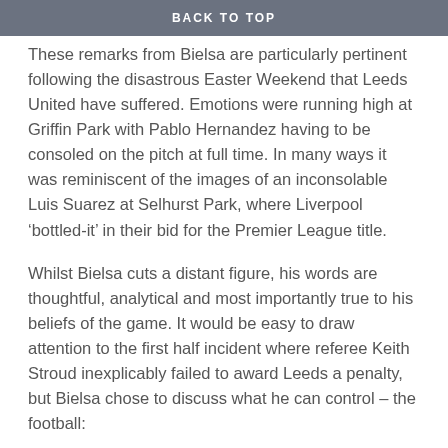BACK TO TOP
These remarks from Bielsa are particularly pertinent following the disastrous Easter Weekend that Leeds United have suffered. Emotions were running high at Griffin Park with Pablo Hernandez having to be consoled on the pitch at full time. In many ways it was reminiscent of the images of an inconsolable Luis Suarez at Selhurst Park, where Liverpool ‘bottled-it’ in their bid for the Premier League title.
Whilst Bielsa cuts a distant figure, his words are thoughtful, analytical and most importantly true to his beliefs of the game. It would be easy to draw attention to the first half incident where referee Keith Stroud inexplicably failed to award Leeds a penalty, but Bielsa chose to discuss what he can control – the football:
“The game today looks like many games we played this year. We had offensive actions but